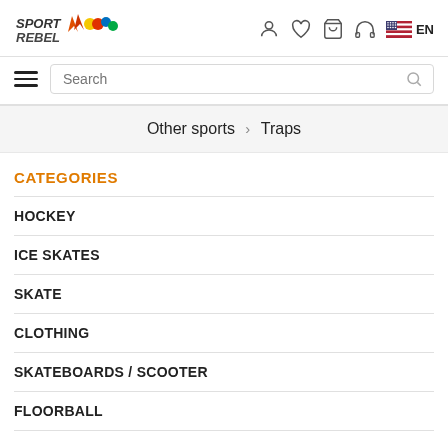[Figure (logo): SportRebel logo with orange and red flame icons and colorful disc shapes]
Other sports > Traps
CATEGORIES
HOCKEY
ICE SKATES
SKATE
CLOTHING
SKATEBOARDS / SCOOTER
FLOORBALL